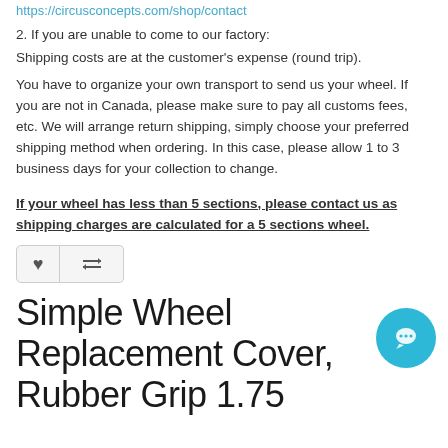https://circusconcepts.com/shop/contact
2. If you are unable to come to our factory:
Shipping costs are at the customer's expense (round trip).
You have to organize your own transport to send us your wheel. If you are not in Canada, please make sure to pay all customs fees, etc. We will arrange return shipping, simply choose your preferred shipping method when ordering. In this case, please allow 1 to 3 business days for your collection to change.
If your wheel has less than 5 sections, please contact us as shipping charges are calculated for a 5 sections wheel.
[Figure (other): Wishlist and compare buttons]
Simple Wheel Replacement Cover, Rubber Grip 1.75